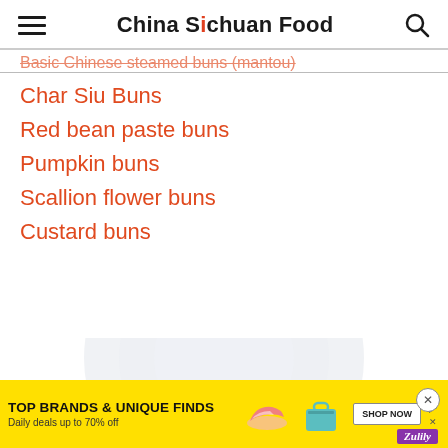China Sichuan Food
Basic Chinese steamed buns (mantou)
Char Siu Buns
Red bean paste buns
Pumpkin buns
Scallion flower buns
Custard buns
[Figure (photo): Circular plate/dish image partially visible, light grey tones]
TOP BRANDS & UNIQUE FINDS
Daily deals up to 70% off